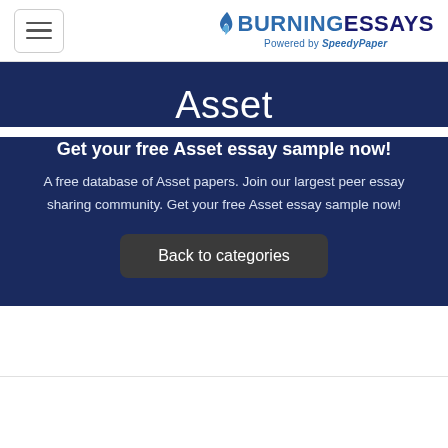BURNINGESSAYS Powered by SpeedyPaper
Asset
Get your free Asset essay sample now!
A free database of Asset papers. Join our largest peer essay sharing community. Get your free Asset essay sample now!
Back to categories